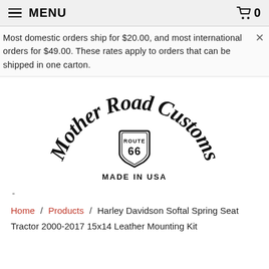MENU | Cart 0
Most domestic orders ship for $20.00, and most international orders for $49.00. These rates apply to orders that can be shipped in one carton.
[Figure (logo): Mother Road Customs Route 66 Made in USA logo with decorative script lettering arched over a Route 66 shield emblem]
-
Home / Products / Harley Davidson Softal Spring Seat Tractor 2000-2017 15x14 Leather Mounting Kit